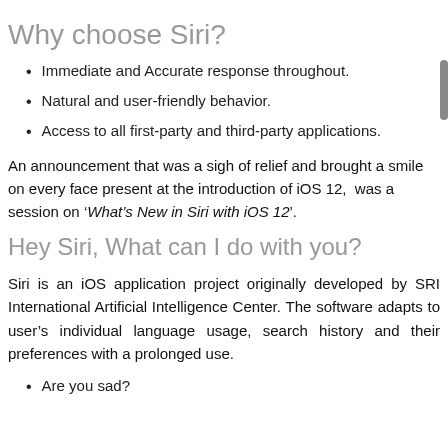Why choose Siri?
Immediate and Accurate response throughout.
Natural and user-friendly behavior.
Access to all first-party and third-party applications.
An announcement that was a sigh of relief and brought a smile on every face present at the introduction of iOS 12, was a session on ‘What’s New in Siri with iOS 12’.
Hey Siri, What can I do with you?
Siri is an iOS application project originally developed by SRI International Artificial Intelligence Center. The software adapts to user’s individual language usage, search history and their preferences with a prolonged use.
Are you sad?